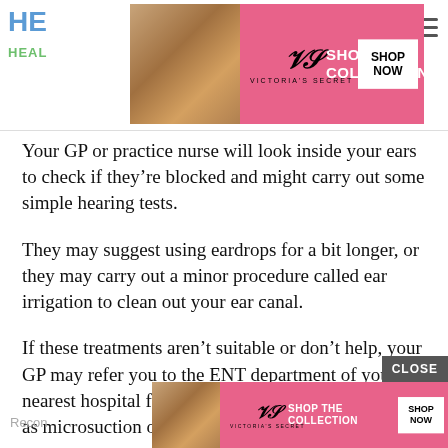[Figure (screenshot): Victoria's Secret advertisement banner at top of page with model photo, VS logo, 'Shop the Collection' text and 'Shop Now' button on pink background]
Your GP or practice nurse will look inside your ears to check if they're blocked and might carry out some simple hearing tests.
They may suggest using eardrops for a bit longer, or they may carry out a minor procedure called ear irrigation to clean out your ear canal.
If these treatments aren't suitable or don't help, your GP may refer you to the ENT department of your nearest hospital for more specialised treatments such as microsuction or an aural toilet.
[Figure (screenshot): Victoria's Secret advertisement banner at bottom of page with model photo, VS logo, 'Shop the Collection' text and 'Shop Now' button on pink background]